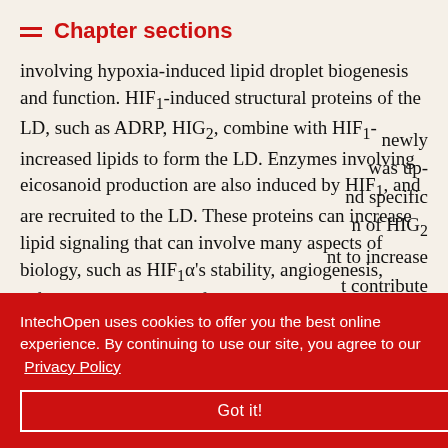Chapter sections
involving hypoxia-induced lipid droplet biogenesis and function. HIF1-induced structural proteins of the LD, such as ADRP, HIG2, combine with HIF1-increased lipids to form the LD. Enzymes involving eicosanoid production are also induced by HIF1, and are recruited to the LD. These proteins can increase lipid signaling that can involve many aspects of biology, such as HIF1α's stability, angiogenesis, inflammation, cell proliferation and survival.
newly was up- nd specific n of HIG2 nt to increase t contribute
IntechOpen uses cookies to offer you the best online experience. By continuing to use our site, you agree to our Privacy Policy Got it!